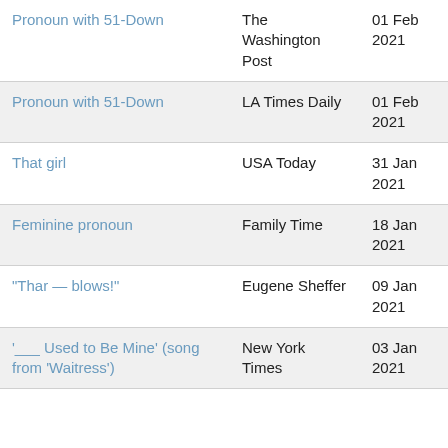| Clue | Source | Date |
| --- | --- | --- |
| Pronoun with 51-Down | The Washington Post | 01 Feb 2021 |
| Pronoun with 51-Down | LA Times Daily | 01 Feb 2021 |
| That girl | USA Today | 31 Jan 2021 |
| Feminine pronoun | Family Time | 18 Jan 2021 |
| "Thar — blows!" | Eugene Sheffer | 09 Jan 2021 |
| '___ Used to Be Mine' (song from 'Waitress') | New York Times | 03 Jan 2021 |